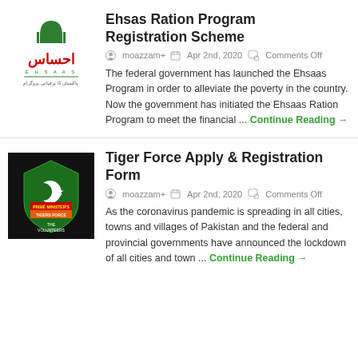[Figure (logo): Ehsas (احساس) Pakistan program logo with green crescent and text]
Ehsas Ration Program Registration Scheme
moazzam+   Apr 2nd, 2020   Comments Off
The federal government has launched the Ehsaas Program in order to alleviate the poverty in the country. Now the government has initiated the Ehsaas Ration Program to meet the financial ... Continue Reading →
[Figure (logo): Tiger Force (Prime Minister's Covid Squad Tigers Force - The Volunteers) shield logo on black background]
Tiger Force Apply & Registration Form
moazzam+   Apr 2nd, 2020   Comments Off
As the coronavirus pandemic is spreading in all cities, towns and villages of Pakistan and the federal and provincial governments have announced the lockdown of all cities and town ... Continue Reading →